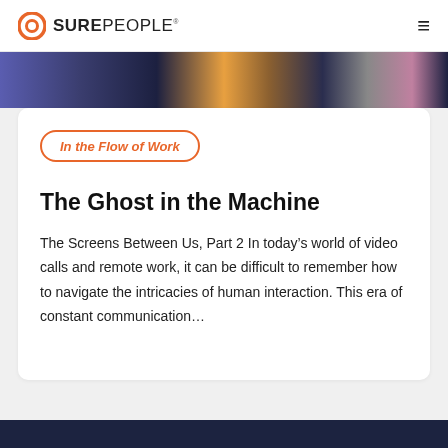SUREPEOPLE
[Figure (photo): Colorful mosaic/collage banner image with various colored blocks including purple, dark navy, orange, brown, gray, and mauve tones representing people or abstract shapes]
In the Flow of Work
The Ghost in the Machine
The Screens Between Us, Part 2 In today’s world of video calls and remote work, it can be difficult to remember how to navigate the intricacies of human interaction. This era of constant communication…